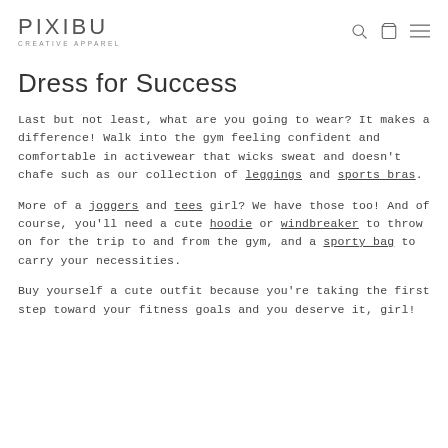PIXIBU CREATIVE APPAREL
Dress for Success
Last but not least, what are you going to wear? It makes a difference! Walk into the gym feeling confident and comfortable in activewear that wicks sweat and doesn't chafe such as our collection of leggings and sports bras.
More of a joggers and tees girl? We have those too! And of course, you'll need a cute hoodie or windbreaker to throw on for the trip to and from the gym, and a sporty bag to carry your necessities.
Buy yourself a cute outfit because you're taking the first step toward your fitness goals and you deserve it, girl!